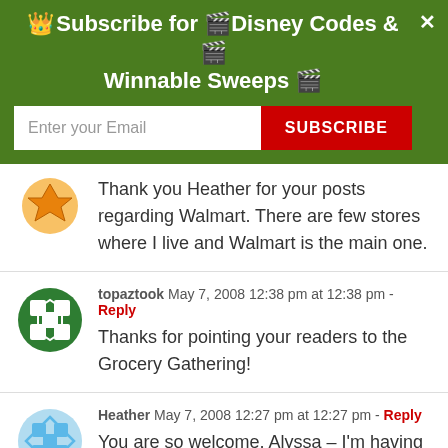[Figure (screenshot): Green subscription banner with crown icon, title 'Subscribe for Disney Codes & Winnable Sweeps', email input field, red SUBSCRIBE button, and close X button]
Thank you Heather for your posts regarding Walmart. There are few stores where I live and Walmart is the main one.
topaztook  May 7, 2008 12:38 pm at 12:38 pm - Reply
Thanks for pointing your readers to the Grocery Gathering!
Heather  May 7, 2008 12:27 pm at 12:27 pm - Reply
You are so welcome, Alyssa – I'm having fun doing it...